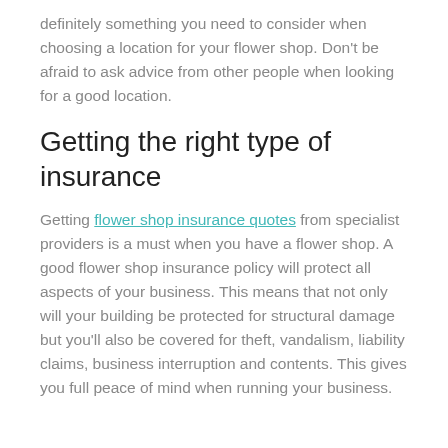definitely something you need to consider when choosing a location for your flower shop. Don't be afraid to ask advice from other people when looking for a good location.
Getting the right type of insurance
Getting flower shop insurance quotes from specialist providers is a must when you have a flower shop. A good flower shop insurance policy will protect all aspects of your business. This means that not only will your building be protected for structural damage but you'll also be covered for theft, vandalism, liability claims, business interruption and contents. This gives you full peace of mind when running your business.